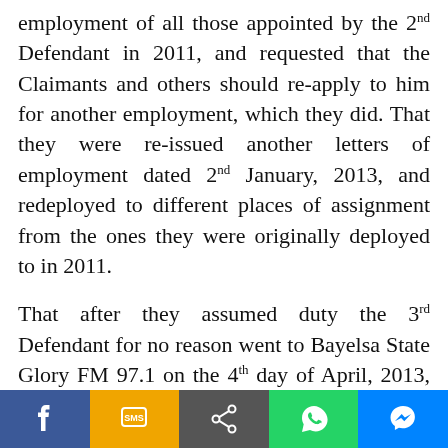employment of all those appointed by the 2nd Defendant in 2011, and requested that the Claimants and others should re-apply to him for another employment, which they did. That they were re-issued another letters of employment dated 2nd January, 2013, and redeployed to different places of assignment from the ones they were originally deployed to in 2011.
That after they assumed duty the 3rd Defendant for no reason went to Bayelsa State Glory FM 97.1 on the 4th day of April, 2013, and announced that the Claimants had been suspended from their offices, and since the suspension he has consistently refused to pay them their salaries. That their employment is guided by the Bayelsa
[Figure (other): Social media sharing bar with buttons: Facebook (blue), SMS (yellow/orange), Share (gray), WhatsApp (green), Messenger (blue)]